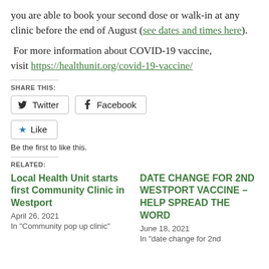you are able to book your second dose or walk-in at any clinic before the end of August (see dates and times here).
For more information about COVID-19 vaccine, visit https://healthunit.org/covid-19-vaccine/
SHARE THIS:
Twitter  Facebook
Like
Be the first to like this.
RELATED:
Local Health Unit starts first Community Clinic in Westport
April 26, 2021
In "Community pop up clinic"
DATE CHANGE FOR 2ND WESTPORT VACCINE – HELP SPREAD THE WORD
June 18, 2021
In "date change for 2nd